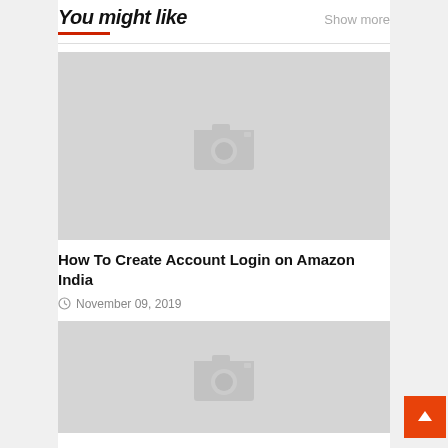You might like
Show more
[Figure (photo): Placeholder image with camera icon (no image loaded)]
How To Create Account Login on Amazon India
November 09, 2019
[Figure (photo): Placeholder image with camera icon (no image loaded)]